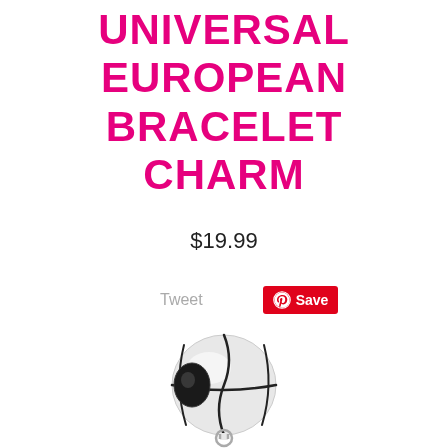UNIVERSAL EUROPEAN BRACELET CHARM
$19.99
Tweet
Save
[Figure (photo): Silver basketball charm bead with black seam lines and a small loop at the bottom, designed for a European bracelet]